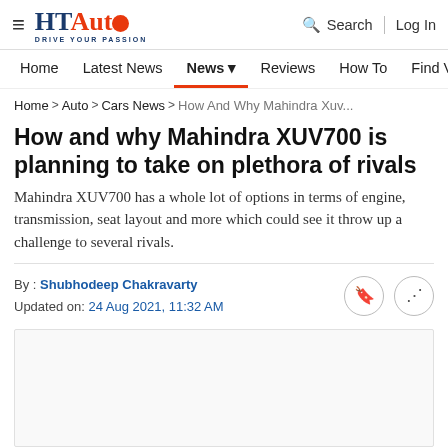HT Auto — Drive Your Passion | Search | Log In
Home | Latest News | News | Reviews | How To | Find Ve...
Home > Auto > Cars News > How And Why Mahindra Xuv...
How and why Mahindra XUV700 is planning to take on plethora of rivals
Mahindra XUV700 has a whole lot of options in terms of engine, transmission, seat layout and more which could see it throw up a challenge to several rivals.
By : Shubhodeep Chakravarty
Updated on: 24 Aug 2021, 11:32 AM
[Figure (other): Empty image placeholder box]